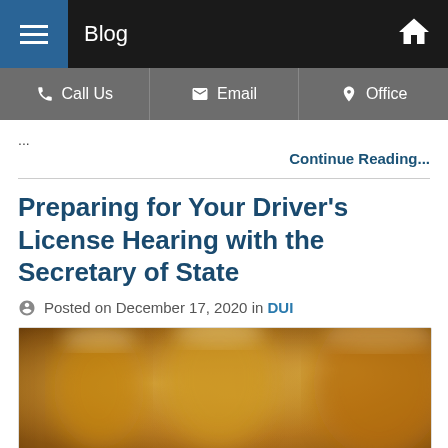Blog
Call Us   Email   Office
...
Continue Reading...
Preparing for Your Driver's License Hearing with the Secretary of State
Posted on December 17, 2020 in DUI
[Figure (photo): Blurred photo of beer glasses on a table, suggesting alcohol consumption related to DUI context]